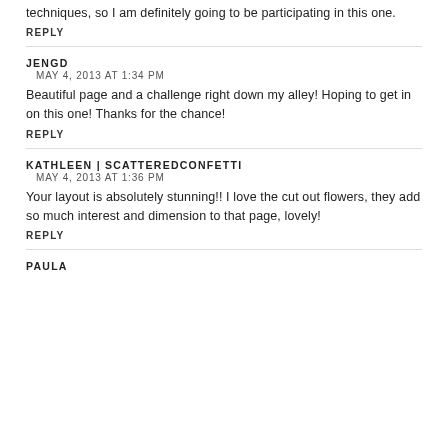techniques, so I am definitely going to be participating in this one.
REPLY
JENGD
MAY 4, 2013 AT 1:34 PM
Beautiful page and a challenge right down my alley! Hoping to get in on this one! Thanks for the chance!
REPLY
KATHLEEN | SCATTEREDCONFETTI
MAY 4, 2013 AT 1:36 PM
Your layout is absolutely stunning!! I love the cut out flowers, they add so much interest and dimension to that page, lovely!
REPLY
PAULA